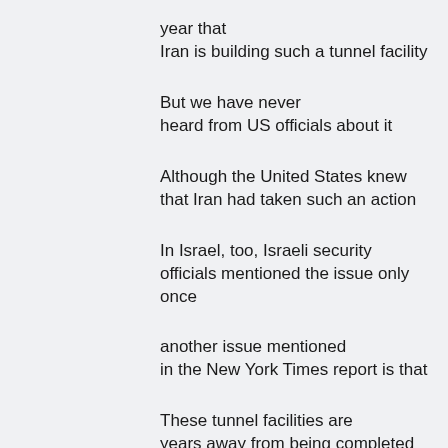year that
Iran is building such a tunnel facility
But we have never
heard from US officials about it
Although the United States knew
that Iran had taken such an action
In Israel, too, Israeli security
officials mentioned the issue only
once
another issue mentioned
in the New York Times report is that
These tunnel facilities are
years away from being completed